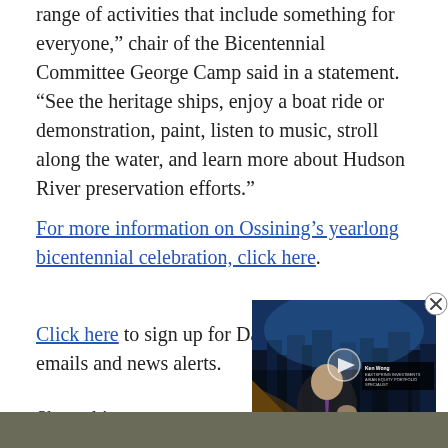range of activities that include something for everyone," chair of the Bicentennial Committee George Camp said in a statement. "See the heritage ships, enjoy a boat ride or demonstration, paint, listen to music, stroll along the water, and learn more about Hudson River preservation efforts."
For more information on Ossining's yearlong bicentennial celebration, click here.
Click here to sign up for Da... emails and news alerts.
[Figure (screenshot): Embedded video overlay showing a man in a suit being interviewed, with Bloomberg-style lower-third graphics reading 'Ken Wong, Eastspring Investments, Asia Equity Portfolio Specialist' and ticker 'GLOBAL STOCKS POISED TO SNAP 4-WEEK WIN STREAK'. A close/X button appears at top right.]
Share this story